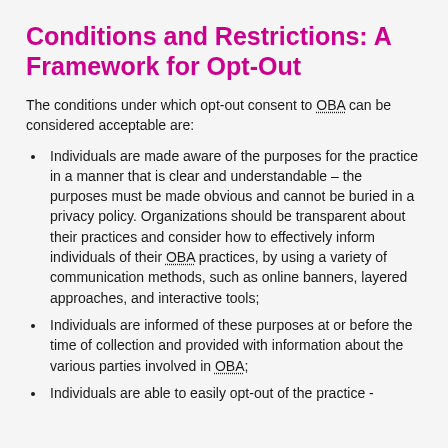Conditions and Restrictions: A Framework for Opt-Out
The conditions under which opt-out consent to OBA can be considered acceptable are:
Individuals are made aware of the purposes for the practice in a manner that is clear and understandable – the purposes must be made obvious and cannot be buried in a privacy policy. Organizations should be transparent about their practices and consider how to effectively inform individuals of their OBA practices, by using a variety of communication methods, such as online banners, layered approaches, and interactive tools;
Individuals are informed of these purposes at or before the time of collection and provided with information about the various parties involved in OBA;
Individuals are able to easily opt-out of the practice -